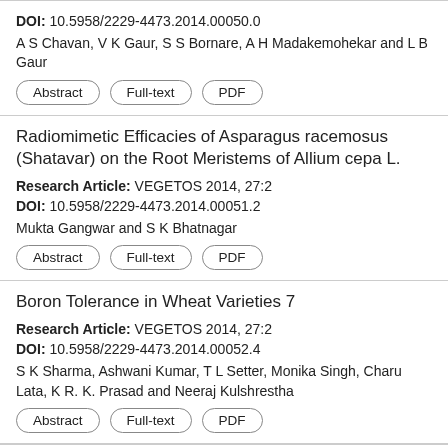DOI: 10.5958/2229-4473.2014.00050.0
A S Chavan, V K Gaur, S S Bornare, A H Madakemohekar and L B Gaur
Abstract | Full-text | PDF
Radiomimetic Efficacies of Asparagus racemosus (Shatavar) on the Root Meristems of Allium cepa L.
Research Article: VEGETOS 2014, 27:2
DOI: 10.5958/2229-4473.2014.00051.2
Mukta Gangwar and S K Bhatnagar
Abstract | Full-text | PDF
Boron Tolerance in Wheat Varieties 7
Research Article: VEGETOS 2014, 27:2
DOI: 10.5958/2229-4473.2014.00052.4
S K Sharma, Ashwani Kumar, T L Setter, Monika Singh, Charu Lata, K R. K. Prasad and Neeraj Kulshrestha
Abstract | Full-text | PDF